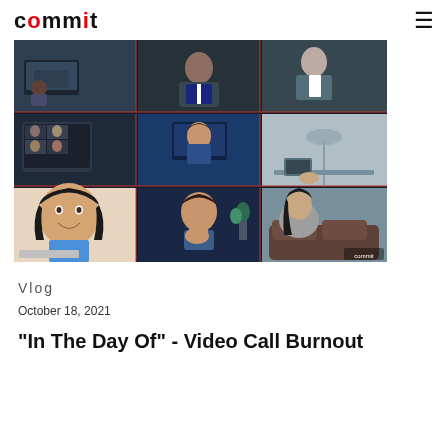commit
[Figure (photo): A 3x3 grid collage of video call participants in various settings: people working from home and offices, some looking at screens, a woman smiling in the foreground, a man in thoughtful pose, with dark blue office backgrounds and professional settings.]
Vlog
October 18, 2021
"In The Day Of" - Video Call Burnout